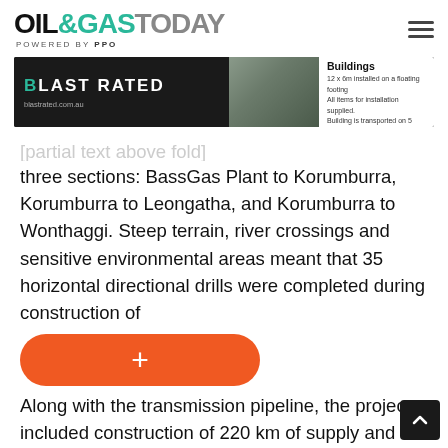OIL&GASTODAY POWERED BY PPO
[Figure (infographic): Blast Rated advertisement banner — Blast Resistant Buildings, 12 x 6m installed on a floating footing. All items for installation supplied. Building is transported on 5 semi-trailers. blastrated.com.au]
three sections: BassGas Plant to Korumburra, Korumburra to Leongatha, and Korumburra to Wonthaggi. Steep terrain, river crossings and sensitive environmental areas meant that 35 horizontal directional drills were completed during construction of
[Figure (other): Orange rounded button with plus (+) symbol]
Along with the transmission pipeline, the project included construction of 220 km of supply and